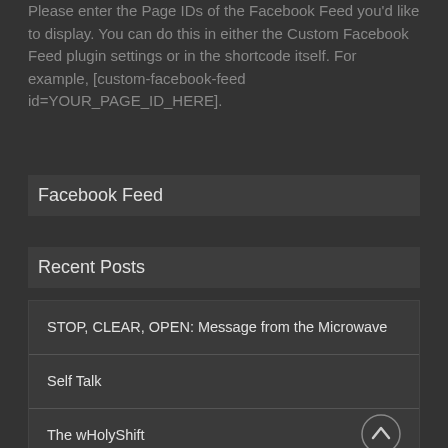Please enter the Page IDs of the Facebook Feed you'd like to display. You can do this in either the Custom Facebook Feed plugin settings or in the shortcode itself. For example, [custom-facebook-feed id=YOUR_PAGE_ID_HERE].
Facebook Feed
Recent Posts
STOP, CLEAR, OPEN: Message from the Microwave
Self Talk
The wHolyShift